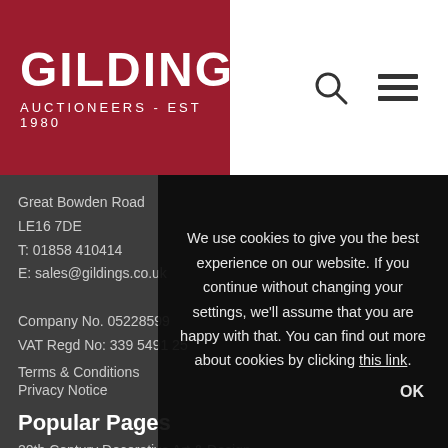[Figure (logo): Gildings Auctioneers logo — red background with white text 'GILDINGS' and 'AUCTIONEERS - EST 1980']
[Figure (other): Search icon (magnifying glass) and hamburger menu icon in the header]
Great Bowden Road
LE16 7DE
T: 01858 410414
E: sales@gildings.co.uk

Company No. 05228599
VAT Regd No: 339 5491 25
Terms & Conditions
Privacy Notice
Popular Pages
20th Century Decorative Art & Design
Asian Art
We use cookies to give you the best experience on our website. If you continue without changing your settings, we'll assume that you are happy with that. You can find out more about cookies by clicking this link.
OK